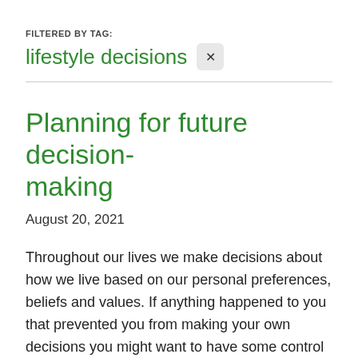FILTERED BY TAG:
lifestyle decisions
Planning for future decision-making
August 20, 2021
Throughout our lives we make decisions about how we live based on our personal preferences, beliefs and values. If anything happened to you that prevented you from making your own decisions you might want to have some control over how these were made. Planning for the future